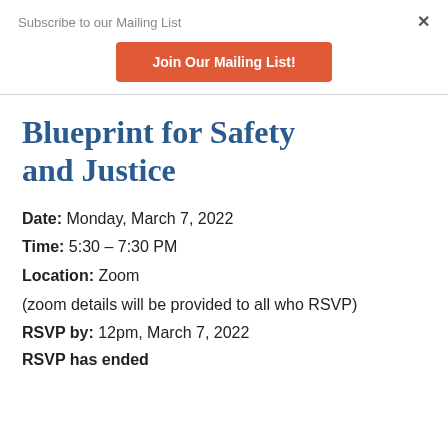Subscribe to our Mailing List
×
Join Our Mailing List!
Blueprint for Safety and Justice
Date: Monday, March 7, 2022
Time: 5:30 – 7:30 PM
Location: Zoom
(zoom details will be provided to all who RSVP)
RSVP by: 12pm, March 7, 2022
RSVP has ended